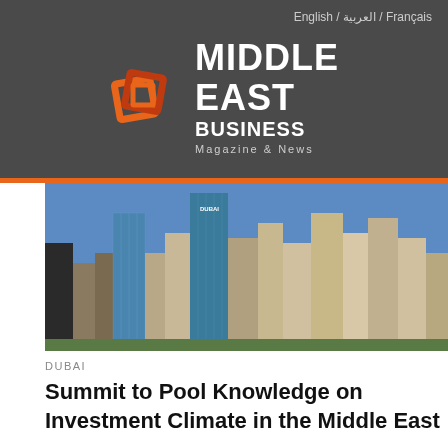English / العربية / Français
[Figure (logo): Middle East Business Magazine & News logo with orange/red geometric square icon and white bold text]
[Figure (photo): Dubai skyline with tall modern skyscrapers against a blue sky, view count badge showing 1.0K]
DUBAI
Summit to Pool Knowledge on Investment Climate in the Middle East
Summit to Pool Knowledge on Investment Climate in the Middle East Political populism, geopolitical uncertainty, and loose monetary policy have changed the...